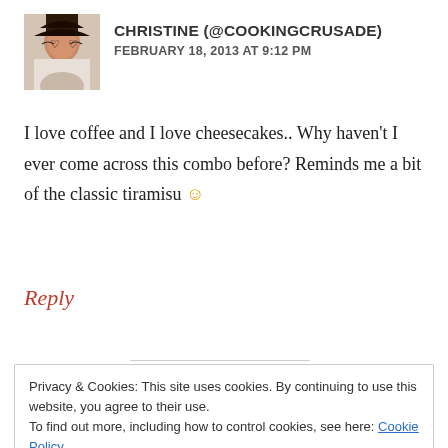[Figure (photo): Avatar photo of Christine, a woman with dark hair and heart-shaped glasses]
CHRISTINE (@COOKINGCRUSADE)
FEBRUARY 18, 2013 AT 9:12 PM
I love coffee and I love cheesecakes.. Why haven’t I ever come across this combo before? Reminds me a bit of the classic tiramisu 😊
Reply
Privacy & Cookies: This site uses cookies. By continuing to use this website, you agree to their use.
To find out more, including how to control cookies, see here: Cookie Policy
Close and accept